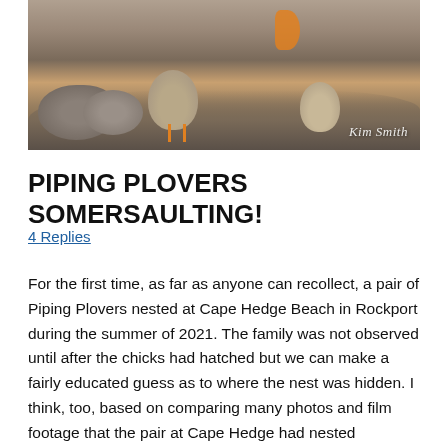[Figure (photo): Photograph of Piping Plovers on a rocky beach with orange legs visible, watermark 'Kim Smith' in bottom right corner]
PIPING PLOVERS SOMERSAULTING!
4 Replies
For the first time, as far as anyone can recollect, a pair of Piping Plovers nested at Cape Hedge Beach in Rockport during the summer of 2021. The family was not observed until after the chicks had hatched but we can make a fairly educated guess as to where the nest was hidden. I think, too, based on comparing many photos and film footage that the pair at Cape Hedge had nested originally at the Salt Island end of Good Harbor Beach. That nest of three eggs was washed away by a storm surge during the King Tide.  There was a great deal of competition for nesting territory at Good Harbor during this time period, and it is logical the SI pair